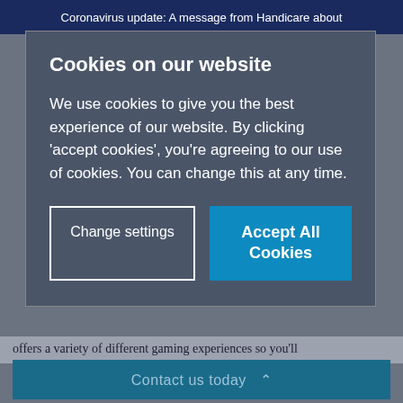Coronavirus update: A message from Handicare about
Cookies on our website
We use cookies to give you the best experience of our website. By clicking ‘accept cookies’, you’re agreeing to our use of cookies. You can change this at any time.
Change settings
Accept All Cookies
offers a variety of different gaming experiences so you'll
Contact us today